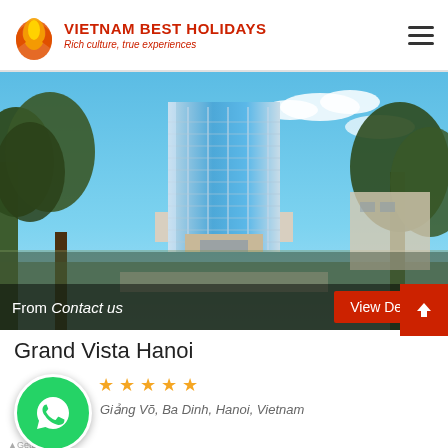VIETNAM BEST HOLIDAYS — Rich culture, true experiences
[Figure (photo): Hotel building photo — Grand Vista Hanoi, a tall modern glass-curtain tower surrounded by trees under a blue sky]
From Contact us
View Detail
Grand Vista Hanoi
[Figure (illustration): 5 gold stars rating]
Giảng Võ, Ba Dinh, Hanoi, Vietnam